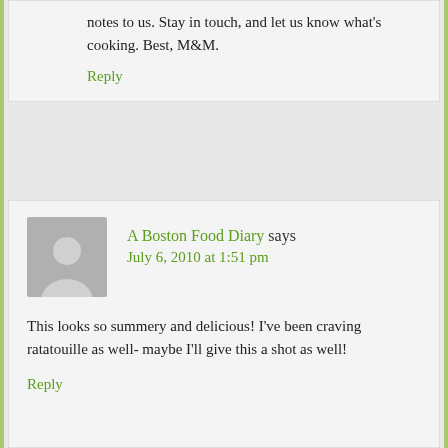notes to us. Stay in touch, and let us know what’s cooking. Best, M&M.
Reply
A Boston Food Diary says July 6, 2010 at 1:51 pm
This looks so summery and delicious! I’ve been craving ratatouille as well- maybe I’ll give this a shot as well!
Reply